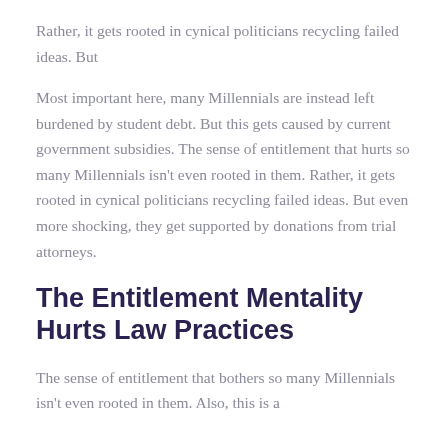Rather, it gets rooted in cynical politicians recycling failed ideas. But
Most important here, many Millennials are instead left burdened by student debt. But this gets caused by current government subsidies. The sense of entitlement that hurts so many Millennials isn't even rooted in them. Rather, it gets rooted in cynical politicians recycling failed ideas. But even more shocking, they get supported by donations from trial attorneys.
The Entitlement Mentality Hurts Law Practices
The sense of entitlement that bothers so many Millennials isn't even rooted in them. Also, this is a